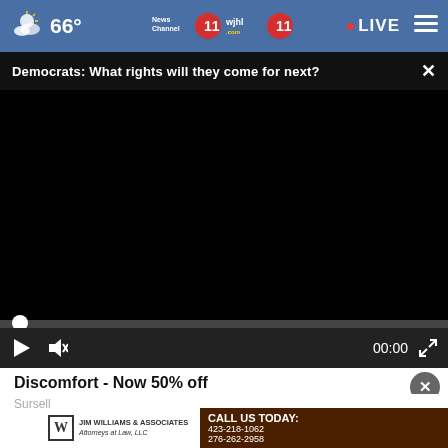66° | News Channel 11 WJHL | LIVE
Democrats: What rights will they come for next?
[Figure (screenshot): Black video player area with playback controls showing 00:00 timestamp, play button, mute button, and fullscreen button. Progress bar with white circular thumb at start.]
Discomfort - Now 50% off
Sursell
[Figure (logo): Jim Williams & Associates Attorneys at Law, LLC advertisement banner with 'CALL US TODAY: 423-218-1062 / 276-262-2958' on dark brown background]